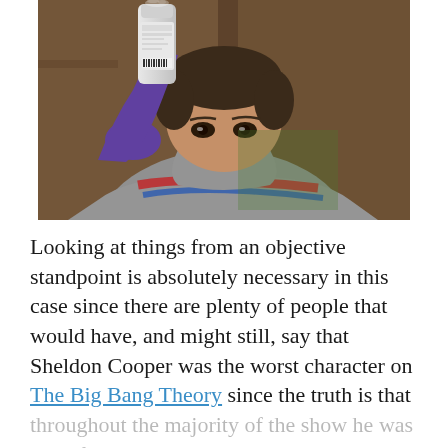[Figure (photo): A man holding up a spray can/bottle in front of his face, wearing a grey t-shirt with colored stripes. The image appears to be from The Big Bang Theory TV show (Sheldon Cooper character).]
Looking at things from an objective standpoint is absolutely necessary in this case since there are plenty of people that would have, and might still, say that Sheldon Cooper was the worst character on The Big Bang Theory since the truth is that throughout the majority of the show he was one of the biggest annoyances. But then again, going back and looking at things, and keeping in mind that